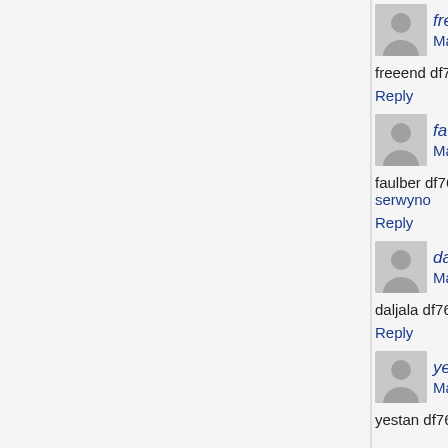freeend says: March 25, 2022 at 3:55 am
freeend df76b833ed https://www.kaggle.com/on
Reply
faulber says: March 25, 2022 at 4:58 am
faulber df76b833ed https://www.kaggle.com/sca serwyno
Reply
daljala says: March 25, 2022 at 7:29 am
daljala df76b833ed https://www.kaggle.com/esp
Reply
yestan says: March 25, 2022 at 8:45 am
yestan df76b833ed https://www.kaggle.com/eni